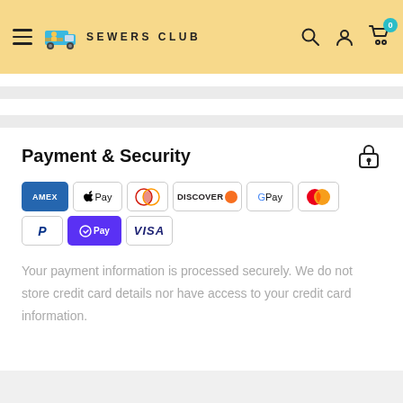SEWERS CLUB — navigation header with hamburger menu, logo, search, account, and cart icons
Payment & Security
[Figure (infographic): Payment method icons: American Express, Apple Pay, Diners Club, Discover, Google Pay, Mastercard, PayPal, Shop Pay, Visa]
Your payment information is processed securely. We do not store credit card details nor have access to your credit card information.